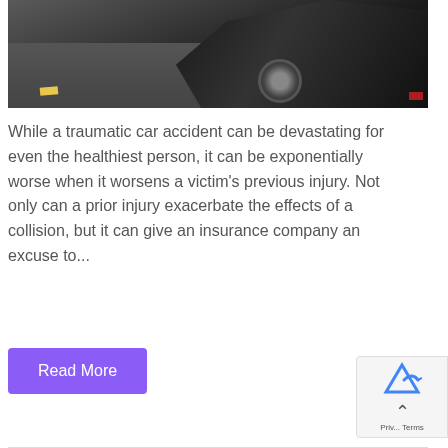[Figure (photo): A car accident scene showing two damaged vehicles on a road, one with a visible wheel and crushed body, shot from behind on asphalt.]
While a traumatic car accident can be devastating for even the healthiest person, it can be exponentially worse when it worsens a victim's previous injury. Not only can a prior injury exacerbate the effects of a collision, but it can give an insurance company an excuse to...
Read More
Privacy  Terms